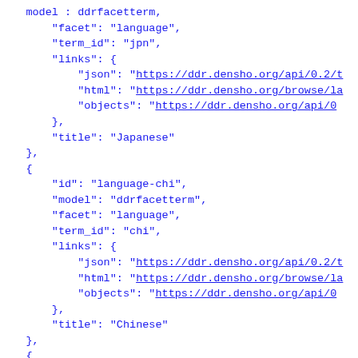model : ddrfacetterm,
"facet": "language",
"term_id": "jpn",
"links": {
    "json": "https://ddr.densho.org/api/0.2/t
    "html": "https://ddr.densho.org/browse/la
    "objects": "https://ddr.densho.org/api/0
},
"title": "Japanese"
},
{
    "id": "language-chi",
    "model": "ddrfacetterm",
    "facet": "language",
    "term_id": "chi",
    "links": {
        "json": "https://ddr.densho.org/api/0.2/t
        "html": "https://ddr.densho.org/browse/la
        "objects": "https://ddr.densho.org/api/0
    },
    "title": "Chinese"
},
{
    "id": "language-fre",
    "model": "ddrfacetterm",
    "facet": "language",
    "term_id": "fre",
    "links": {